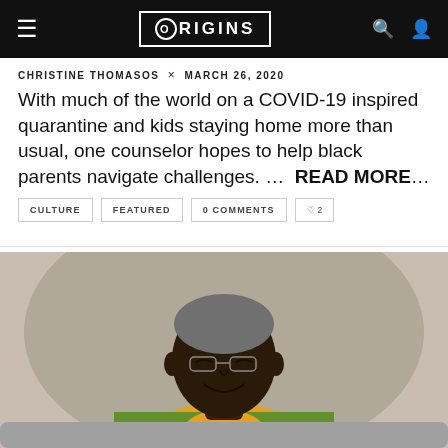ORIGINS
CHRISTINE THOMASOS × MARCH 26, 2020
With much of the world on a COVID-19 inspired quarantine and kids staying home more than usual, one counselor hopes to help black parents navigate challenges. … READ MORE…
CULTURE
FEATURED
0 COMMENTS
♡ 2
[Figure (photo): A smiling Black man with grey hair wearing a colorful African-style shirt, seated, looking down and smiling.]